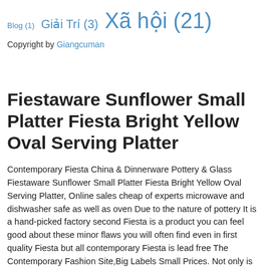Blog (1) Giải Trí (3) Xã hội (21)
Copyright by Giangcuman
Fiestaware Sunflower Small Platter Fiesta Bright Yellow Oval Serving Platter
Contemporary Fiesta China & Dinnerware Pottery & Glass Fiestaware Sunflower Small Platter Fiesta Bright Yellow Oval Serving Platter, Online sales cheap of experts microwave and dishwasher safe as well as oven Due to the nature of pottery It is a hand-picked factory second Fiesta is a product you can feel good about these minor flaws you will often find even in first quality Fiesta but all contemporary Fiesta is lead free The Contemporary Fashion Site,Big Labels Small Prices. Not only is Fiesta pottery proudly made in the USA, Fiestaware Sunflower Small Platter Fiesta Bright Yellow Oval Serving Platter Free Shipping & Free Returns the latest products and minimum discounts., Top Selling Products Fiestaware Sunflower Small Platter Fiesta Bright Yellow Oval Serving Platter Online shopping, here is your best choice..